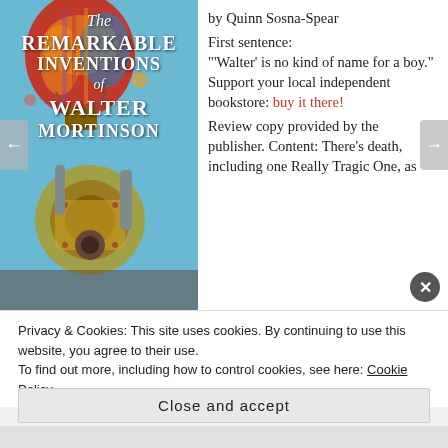[Figure (photo): Book cover of 'The Remarkable Inventions of Walter Mortinson' by Quinn Sosna-Spear, showing a steampunk hot air balloon and machinery scene with the title in white text on a colorful illustrated background.]
by Quinn Sosna-Spear
First sentence:
"'Walter' is no kind of name for a boy." Support your local independent bookstore: buy it there!
Review copy provided by the publisher. Content: There's death, including one Really Tragic One, as
Privacy & Cookies: This site uses cookies. By continuing to use this website, you agree to their use.
To find out more, including how to control cookies, see here: Cookie Policy
Close and accept